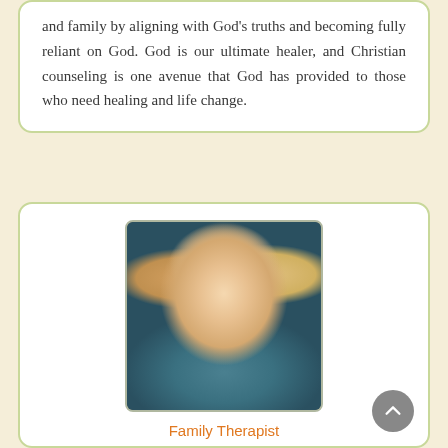and family by aligning with God's truths and becoming fully reliant on God. God is our ultimate healer, and Christian counseling is one avenue that God has provided to those who need healing and life change.
[Figure (photo): Professional headshot of Laurel Fay, a woman with blonde wavy hair, smiling, wearing teal earrings and a teal top with dark jacket]
Family Therapist
Laurel Fay, M.S., LCMFT
Licensed Clinical Marriage and Family Therapist